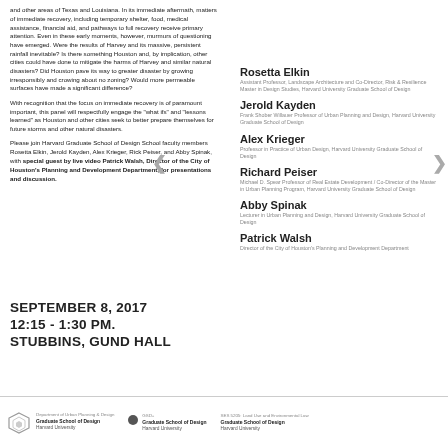and other areas of Texas and Louisiana. In its immediate aftermath, matters of immediate recovery, including temporary shelter, food, medical assistance, financial aid, and pathways to full recovery receive primary attention. Even in these early moments, however, murmurs of questioning have emerged. Were the results of Harvey and its massive, persistent rainfall inevitable? Is there something Houston and, by implication, other cities could have done to mitigate the harms of Harvey and similar natural disasters? Did Houston pave its way to greater disaster by growing irresponsibly and crowing about no zoning? Would more permeable surfaces have made a significant difference?
With recognition that the focus on immediate recovery is of paramount important, this panel will respectfully engage the "what ifs" and "lessons learned" as Houston and other cities seek to better prepare themselves for future storms and other natural disasters.
Please join Harvard Graduate School of Design School faculty members Rosetta Elkin, Jerold Kayden, Alex Krieger, Rick Peiser, and Abby Spinak, with special guest by live video Patrick Walsh, Director of the City of Houston's Planning and Development Department, for presentations and discussion.
Rosetta Elkin
Assistant Professor, Landscape Architecture and Co-Director, Risk & Resilience Master in Design Studies, Harvard University Graduate School of Design
Jerold Kayden
Frank Shober Willauer Professor of Urban Planning and Design, Harvard University Graduate School of Design
Alex Krieger
Professor in Practice of Urban Design, Harvard University Graduate School of Design
Richard Peiser
Michael D. Spear Professor of Real Estate Development / Co-Director of the Master in Urban Planning Program, Harvard University Graduate School of Design
Abby Spinak
Lecturer in Urban Planning and Design, Harvard University Graduate School of Design
Patrick Walsh
Director of the City of Houston's Planning and Development Department
SEPTEMBER 8, 2017
12:15 - 1:30 PM.
STUBBINS, GUND HALL
Department of Urban Planning & Design Graduate School of Design Harvard University | GSD+ Graduate School of Design Harvard University | SES 5205: Land Use and Environmental Law Graduate School of Design Harvard University